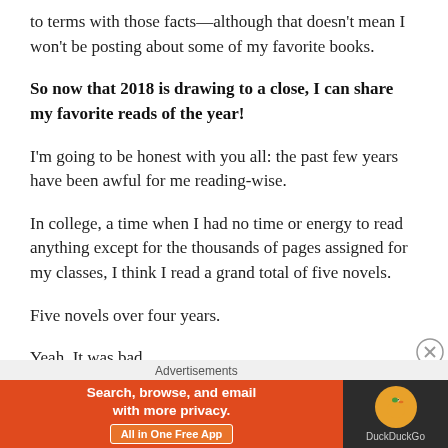to terms with those facts—although that doesn't mean I won't be posting about some of my favorite books.
So now that 2018 is drawing to a close, I can share my favorite reads of the year!
I'm going to be honest with you all: the past few years have been awful for me reading-wise.
In college, a time when I had no time or energy to read anything except for the thousands of pages assigned for my classes, I think I read a grand total of five novels.
Five novels over four years.
Yeah. It was bad.
[Figure (infographic): DuckDuckGo advertisement banner with text: Search, browse, and email with more privacy. All in One Free App]
Advertisements